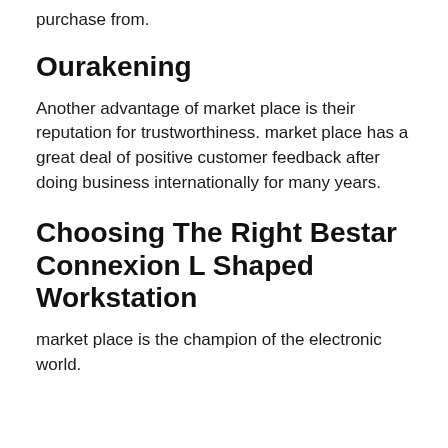purchase from.
Ourakening
Another advantage of market place is their reputation for trustworthiness. market place has a great deal of positive customer feedback after doing business internationally for many years.
Choosing The Right Bestar Connexion L Shaped Workstation
market place is the champion of the electronic world.